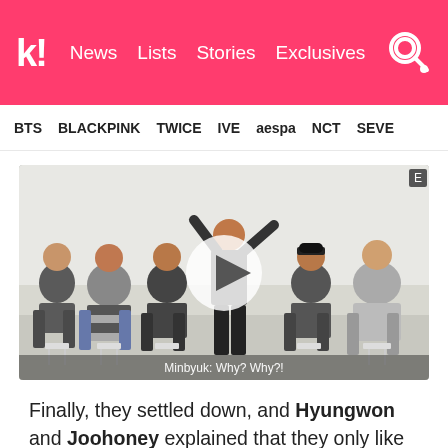k! News Lists Stories Exclusives
BTS BLACKPINK TWICE IVE aespa NCT SEVE
[Figure (photo): Video thumbnail showing a group of young men in a room, one standing with arm raised, others sitting on stools. Subtitle reads: Minbyuk: Why? Why?!]
Finally, they settled down, and Hyungwon and Joohoney explained that they only like Americano.